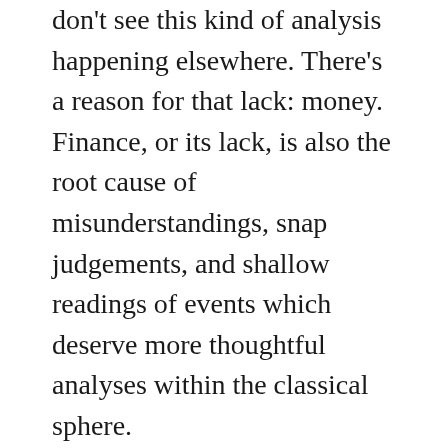don't see this kind of analysis happening elsewhere. There's a reason for that lack: money. Finance, or its lack, is also the root cause of misunderstandings, snap judgements, and shallow readings of events which deserve more thoughtful analyses within the classical sphere.
In analyzing the varied and deeply-rooted causes of recent Russian artist/artwork cancellation, there has been a growing awareness of the role of flexibility: who can bend, when, how much, to what cost, literal and otherwise. The ideas of “normal” held by audiences and administrations, and the ways in which the classical industry has continued to cling to those notions, veneering themselves in some semblance of it, are